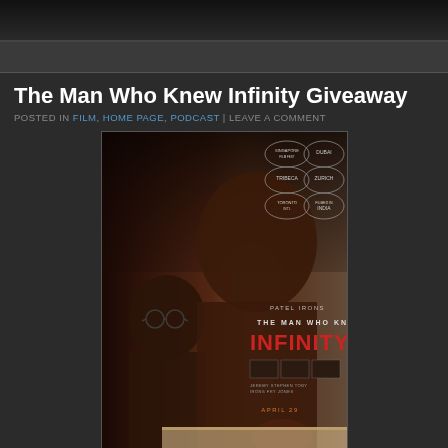The Man Who Knew Infinity Giveaway
POSTED IN FILM, HOME PAGE, PODCAST | LEAVE A COMMENT
[Figure (photo): Movie poster for 'The Man Who Knew Infinity' showing two men — a younger man writing in the foreground and an older man with glasses in the background. Festival laurel badges visible in top right corner including Singapore, Dubai, Tribeca, Zurich, Toronto, and India. Film title displayed in red/white text with cast names.]
Make sure you are listening to this week's episode of The Good The Bad